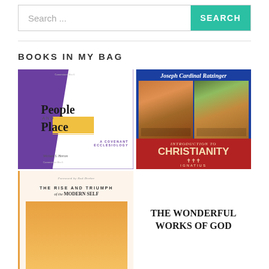Search ...  SEARCH
BOOKS IN MY BAG
[Figure (photo): Book cover: People and Place - A Covenant Ecclesiology by Michael S. Horton. Purple background with white section and yellow accent box.]
[Figure (photo): Book cover: Introduction to Christianity by Joseph Cardinal Ratzinger. Blue top with religious artwork images, red bottom with title text, Ignatius press.]
[Figure (photo): Book cover: The Rise and Triumph of the Modern Self. Cream/peach background with yellow-orange spine stripe.]
THE WONDERFUL WORKS OF GOD